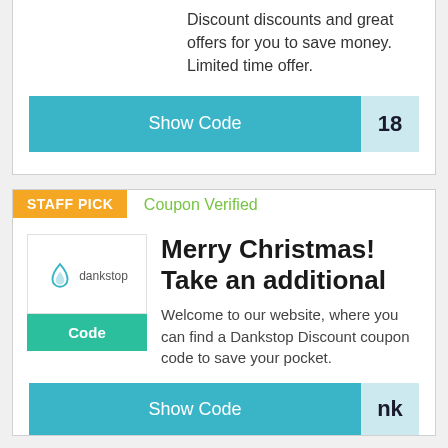Discount discounts and great offers for you to save money. Limited time offer.
Show Code  18
STAFF PICK
Coupon Verified
Merry Christmas! Take an additional
[Figure (logo): Dankstop logo with water drop icon and text 'dankstop']
Code
Welcome to our website, where you can find a Dankstop Discount coupon code to save your pocket.
Show Code  nk